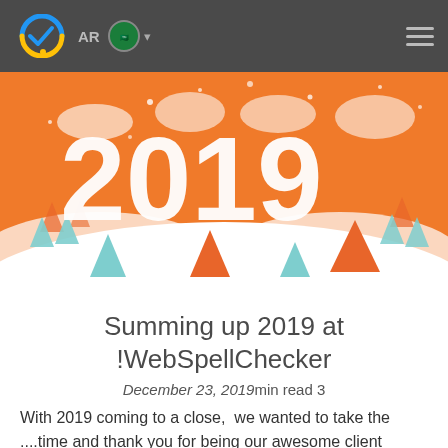AR [flag] ≡
[Figure (illustration): 2019 New Year illustration with large snow-covered '2019' text on an orange winter background with snow-capped trees and snowflakes]
Summing up 2019 at !WebSpellChecker
December 23, 2019min read 3
With 2019 coming to a close,  we wanted to take the ....time and thank you for being our awesome client